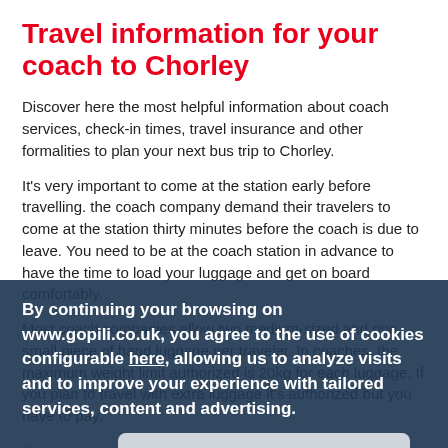Travel information for your coach to Chorley
Discover here the most helpful information about coach services, check-in times, travel insurance and other formalities to plan your next bus trip to Chorley.
It's very important to come at the station early before travelling. the coach company demand their travelers to come at the station thirty minutes before the coach is due to leave. You need to be at the coach station in advance to have the time to load your luggage and get on board comfortably.
Most coach companies allow two medium-sized and one small piece of hand luggage per traveler. In coaches, the maximum weight limit authorized is 20kg for each luggage. If you plan to travel with extra luggage it's authorized but you have to pay.
By continuing your browsing on www.gopili.co.uk, you agree to the use of cookies configurable here, allowing us to analyze visits and to improve your experience with tailored services, content and advertising.
OK, accept all
To anticipate any risk during your travel to Chorley, the bus companies like the coach company offer insurance for your journey. You will find all the information about insurance for your next travel on the website of the bus company you choose for your trip.